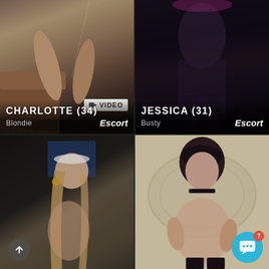[Figure (photo): Top-left card: photo of Charlotte (34), a blonde escort. Shows legs near a sofa. Has a VIDEO badge.]
CHARLOTTE (34)
Blondie   Escort
[Figure (photo): Top-right card: photo of Jessica (31), a busty escort. Dark tones.]
JESSICA (31)
Busty   Escort
[Figure (photo): Bottom-left card: young blonde woman posing. Has scroll-up arrow button.]
[Figure (photo): Bottom-right card: dark-haired woman posing. Has chat button with badge 7.]